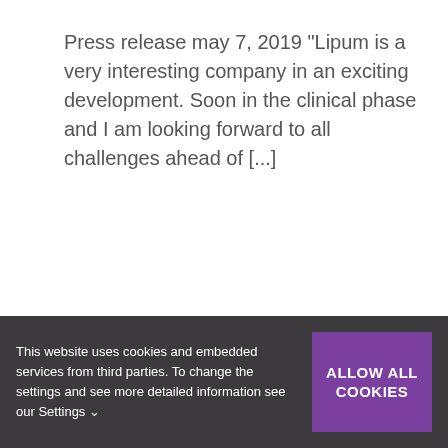Press release may 7, 2019 “Lipum is a very interesting company in an exciting development. Soon in the clinical phase and I am looking forward to all challenges ahead of [...]
[Figure (other): Calendar widget showing date 23, 04, 2019 in purple, with a pen/quill icon below on a light grey background]
This website uses cookies and embedded services from third parties. To change the settings and see more detailed information see our Settings ∨
ALLOW ALL COOKIES